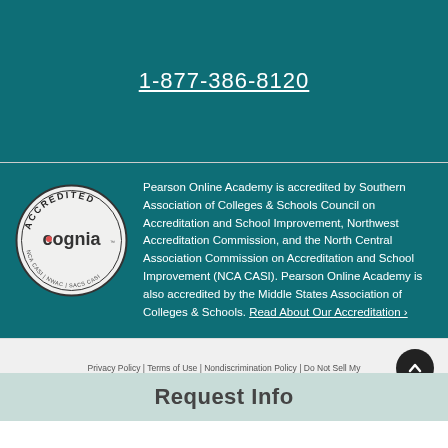1-877-386-8120
[Figure (logo): Cognia Accredited badge/seal — circular badge with text ACCREDITED at top, cognia logo in center, NCA CASI | NWAC | SACS CASI around the bottom]
Pearson Online Academy is accredited by Southern Association of Colleges & Schools Council on Accreditation and School Improvement, Northwest Accreditation Commission, and the North Central Association Commission on Accreditation and School Improvement (NCA CASI). Pearson Online Academy is also accredited by the Middle States Association of Colleges & Schools. Read About Our Accreditation ›
Privacy Policy | Terms of Use | Nondiscrimination Policy | Do Not Sell My
Request Info